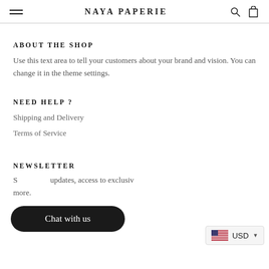NAYA PAPERIE
ABOUT THE SHOP
Use this text area to tell your customers about your brand and vision. You can change it in the theme settings.
NEED HELP ?
Shipping and Delivery
Terms of Service
NEWSLETTER
S[…]updates, access to exclusiv[…] more.